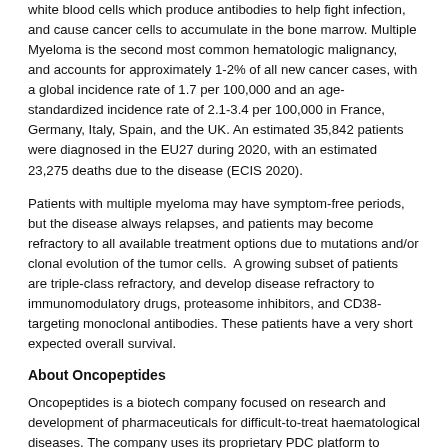white blood cells which produce antibodies to help fight infection, and cause cancer cells to accumulate in the bone marrow. Multiple Myeloma is the second most common hematologic malignancy, and accounts for approximately 1-2% of all new cancer cases, with a global incidence rate of 1.7 per 100,000 and an age-standardized incidence rate of 2.1-3.4 per 100,000 in France, Germany, Italy, Spain, and the UK. An estimated 35,842 patients were diagnosed in the EU27 during 2020, with an estimated 23,275 deaths due to the disease (ECIS 2020).
Patients with multiple myeloma may have symptom-free periods, but the disease always relapses, and patients may become refractory to all available treatment options due to mutations and/or clonal evolution of the tumor cells. A growing subset of patients are triple-class refractory, and develop disease refractory to immunomodulatory drugs, proteasome inhibitors, and CD38- targeting monoclonal antibodies. These patients have a very short expected overall survival.
About Oncopeptides
Oncopeptides is a biotech company focused on research and development of pharmaceuticals for difficult-to-treat haematological diseases. The company uses its proprietary PDC platform to develop peptide-drug conjugated compounds that rapidly and selectively deliver cytotoxic agents into cancer cells. The first drug coming from the PDC platform, Pepaxto® (INN melphalan flufenamide), was granted accelerated approval in the